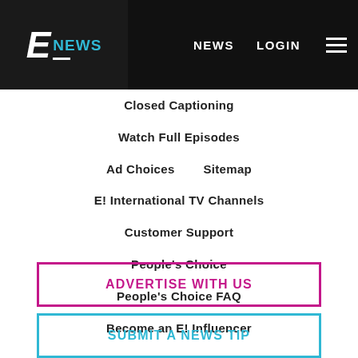E! NEWS   NEWS   LOGIN
Closed Captioning
Watch Full Episodes
Ad Choices   Sitemap
E! International TV Channels
Customer Support
People's Choice
People's Choice FAQ
Become an E! Influencer
ADVERTISE WITH US
SUBMIT A NEWS TIP